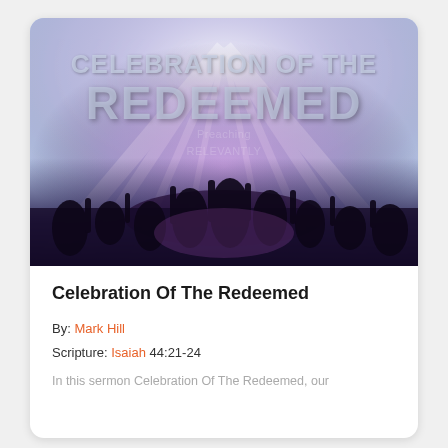[Figure (photo): Worship concert crowd with hands raised, overlaid with large text reading 'CELEBRATION OF THE REDEEMED' in bold semi-transparent letters. Bright light rays radiate from the center top. A watermark is visible in the middle of the image.]
Celebration Of The Redeemed
By: Mark Hill
Scripture: Isaiah 44:21-24
In this sermon Celebration Of The Redeemed, our